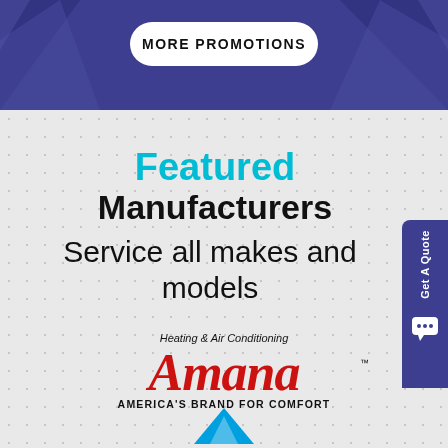MORE PROMOTIONS
Featured
Manufacturers
Service all makes and models
[Figure (logo): Amana Heating & Air Conditioning logo with tagline AMERICA'S BRAND FOR COMFORT]
[Figure (logo): Partial blue triangle logo at bottom of page]